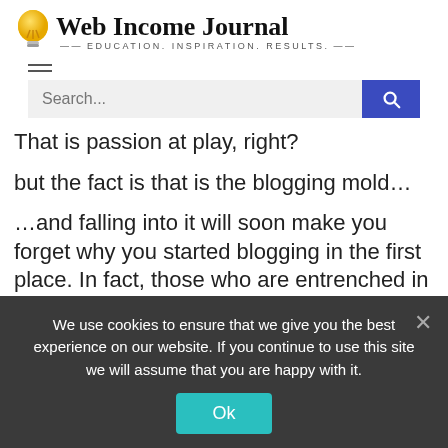Web Income Journal — EDUCATION. INSPIRATION. RESULTS.
That is passion at play, right?
but the fact is that is the blogging mold…
…and falling into it will soon make you forget why you started blogging in the first place. In fact, those who are entrenched in this mold actually believe that blogging to
We use cookies to ensure that we give you the best experience on our website. If you continue to use this site we will assume that you are happy with it.